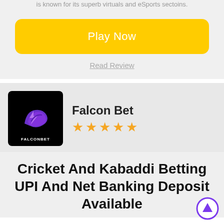is known for its superb virtuals and eSports sectoins.
Play Now
Read Review
[Figure (logo): Falcon Bet logo — black square with purple falcon/wave graphic and text FALCONBET]
Falcon Bet
★★★★★
Cricket And Kabaddi Betting UPI And Net Banking Deposit Available